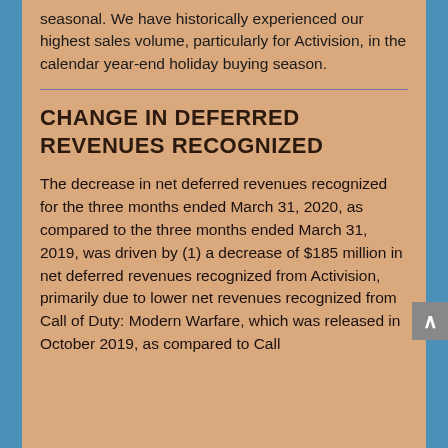seasonal. We have historically experienced our highest sales volume, particularly for Activision, in the calendar year-end holiday buying season.
CHANGE IN DEFERRED REVENUES RECOGNIZED
The decrease in net deferred revenues recognized for the three months ended March 31, 2020, as compared to the three months ended March 31, 2019, was driven by (1) a decrease of $185 million in net deferred revenues recognized from Activision, primarily due to lower net revenues recognized from Call of Duty: Modern Warfare, which was released in October 2019, as compared to Call